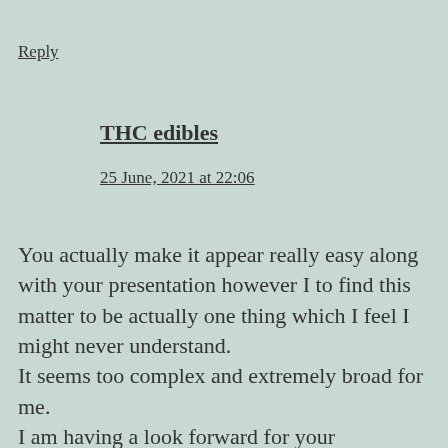Reply
THC edibles
25 June, 2021 at 22:06
You actually make it appear really easy along with your presentation however I to find this matter to be actually one thing which I feel I might never understand. It seems too complex and extremely broad for me. I am having a look forward for your subsequent